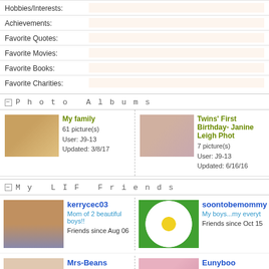| Field | Value |
| --- | --- |
| Hobbies/Interests: |  |
| Achievements: |  |
| Favorite Quotes: |  |
| Favorite Movies: |  |
| Favorite Books: |  |
| Favorite Charities: |  |
Photo Albums
[Figure (photo): Photo album thumbnail for My family]
My family
61 picture(s)
User: J9-13
Updated: 3/8/17
[Figure (photo): Photo album thumbnail for Twins First Birthday]
Twins' First Birthday- Janine Leigh Phot
7 picture(s)
User: J9-13
Updated: 6/16/16
My LIF Friends
[Figure (photo): Profile photo of kerrycec03]
kerrycec03
Mom of 2 beautiful boys!!
Friends since Aug 06
[Figure (photo): Profile photo of soontobemommy - daisy flower]
soontobemommy
My boys...my everyt
Friends since Oct 15
[Figure (photo): Profile photo of Mrs-Beans - baby]
Mrs-Beans
LIF Adolescent
[Figure (photo): Profile photo of Eunyboo - roses]
Eunyboo
<3